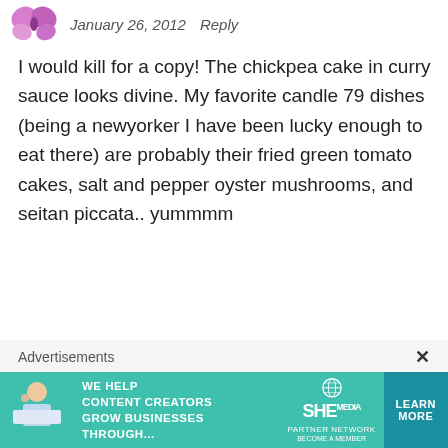January 26, 2012   Reply
I would kill for a copy! The chickpea cake in curry sauce looks divine. My favorite candle 79 dishes (being a newyorker I have been lucky enough to eat there) are probably their fried green tomato cakes, salt and pepper oyster mushrooms, and seitan piccata.. yummmm
Loading...
Jane Kernan
January 27, 2012   Reply
[Figure (other): Advertisement banner for SHE Media Partner Network: 'We help content creators grow businesses through...' with Learn More button]
Advertisements